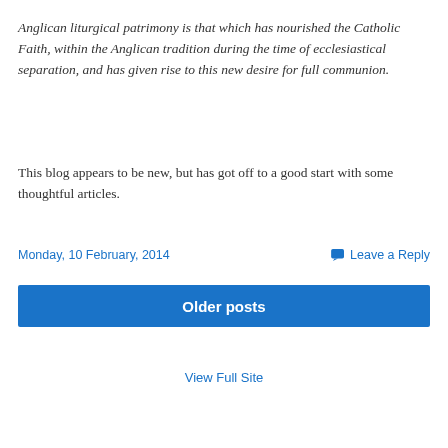Anglican liturgical patrimony is that which has nourished the Catholic Faith, within the Anglican tradition during the time of ecclesiastical separation, and has given rise to this new desire for full communion.
This blog appears to be new, but has got off to a good start with some thoughtful articles.
Monday, 10 February, 2014
Leave a Reply
Older posts
View Full Site